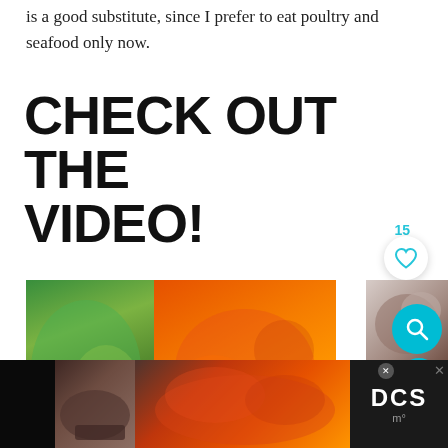is a good substitute, since I prefer to eat poultry and seafood only now.
CHECK OUT THE VIDEO!
[Figure (photo): Food photo collage showing salad, Caribbean chicken recipes, casserole on decorative plate, and bread slices, with teal Caribbean Recipes label overlay]
[Figure (photo): Bottom bar with roasted chicken and advertisement overlay with DCS logo and close buttons]